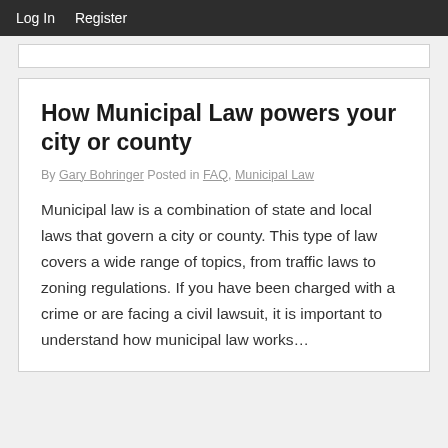Log In   Register
How Municipal Law powers your city or county
By Gary Bohringer Posted in FAQ, Municipal Law
Municipal law is a combination of state and local laws that govern a city or county. This type of law covers a wide range of topics, from traffic laws to zoning regulations. If you have been charged with a crime or are facing a civil lawsuit, it is important to understand how municipal law works…